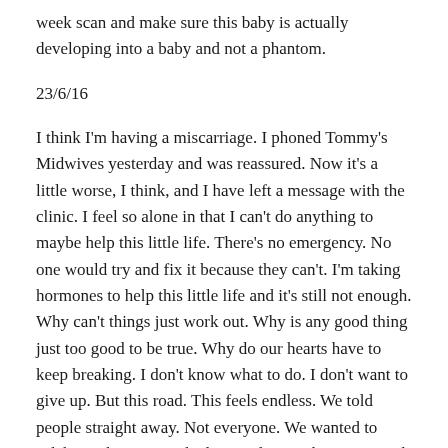week scan and make sure this baby is actually developing into a baby and not a phantom.
23/6/16
I think I'm having a miscarriage. I phoned Tommy's Midwives yesterday and was reassured. Now it's a little worse, I think, and I have left a message with the clinic. I feel so alone in that I can't do anything to maybe help this little life. There's no emergency. No one would try and fix it because they can't. I'm taking hormones to help this little life and it's still not enough. Why can't things just work out. Why is any good thing just too good to be true. Why do our hearts have to keep breaking. I don't know what to do. I don't want to give up. But this road. This feels endless. We told people straight away. Not everyone. We wanted to celebrate the time we had. Four days without too much worry. Four days of thinking this could be fine. Why? Please hold on little one, please. I promise we are worth it. We really are. You will love it here and we will love you so so so much. Leo will be a brilliant big brother, guiding you. Please help your